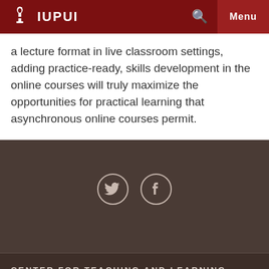IUPUI
a lecture format in live classroom settings, adding practice-ready, skills development in the online courses will truly maximize the opportunities for practical learning that asynchronous online courses permit.
[Figure (illustration): Twitter and Facebook social media icons in circles on dark brown footer background]
CENTER FOR TEACHING AND LEARNING